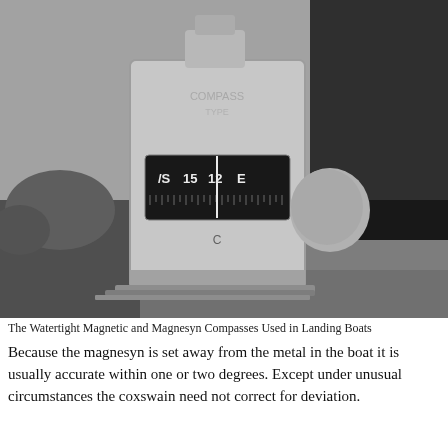[Figure (photo): Black and white photograph of a Watertight Magnetic and Magnesyn Compass used in landing boats. The compass unit is a boxy, light-colored instrument with a dark compass display face showing markings including 'S 15 12 E'. The instrument is positioned outdoors with another dark object to its right.]
The Watertight Magnetic and Magnesyn Compasses Used in Landing Boats
Because the magnesyn is set away from the metal in the boat it is usually accurate within one or two degrees. Except under unusual circumstances the coxswain need not correct for deviation.